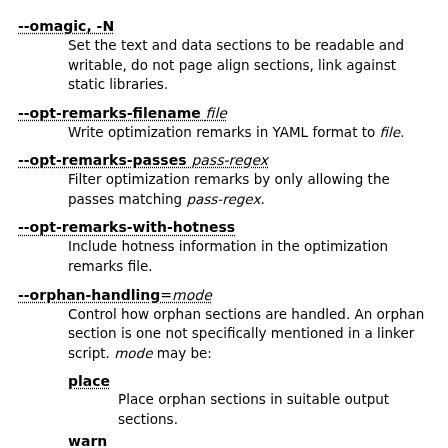--omagic, -N
    Set the text and data sections to be readable and writable, do not page align sections, link against static libraries.
--opt-remarks-filename file
    Write optimization remarks in YAML format to file.
--opt-remarks-passes pass-regex
    Filter optimization remarks by only allowing the passes matching pass-regex.
--opt-remarks-with-hotness
    Include hotness information in the optimization remarks file.
--orphan-handling=mode
    Control how orphan sections are handled. An orphan section is one not specifically mentioned in a linker script. mode may be:
place
    Place orphan sections in suitable output sections.
warn
    Place orphan sections as for place and also report a warning.
error